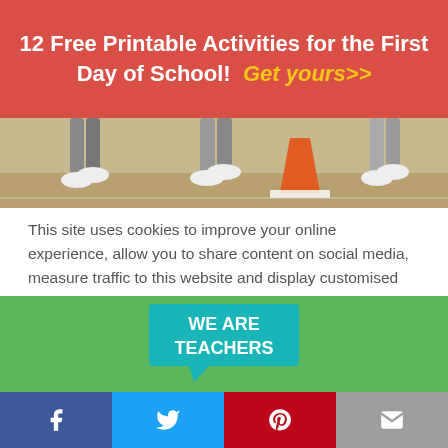12 Free Printable Activities for the First Day of School!  Get yours>>
[Figure (photo): Children's legs and feet near traffic cone, outdoor activity]
This site uses cookies to improve your online experience, allow you to share content on social media, measure traffic to this website and display customised ads based on your browsing activity.
Learn More
Accept
[Figure (logo): We Are Teachers logo on green background]
[Figure (infographic): Social share bar with Facebook, Twitter, Pinterest, and Email icons]